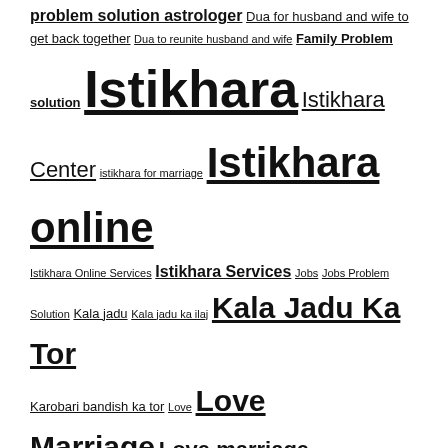problem solution astrologer Dua for husband and wife to get back together Dua to reunite husband and wife Family Problem solution Istikhara Istikhara Center istikhara for marriage Istikhara online Istikhara Online Services Istikhara Services Jobs Jobs Problem Solution Kala jadu Kala jadu ka ilaj Kala Jadu Ka Tor Karobari bandish ka tor Love Love Marriage Love marriage problem Love marriage problem solution Love Problem Solution Madni Istikhara Center Online Istikhara online istikhara center online istikhara for marriage online Istikhara services online istikhara whatsapp Powerful wazifa to make someone mad in love with you Remove Black Magic